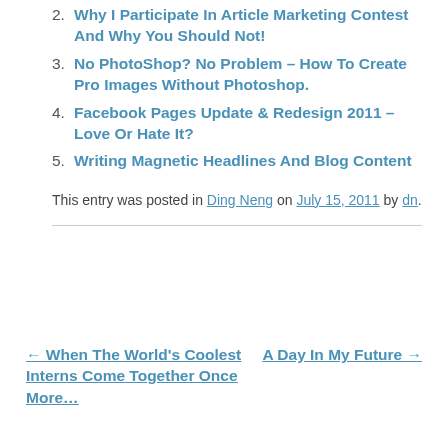2. Why I Participate In Article Marketing Contest And Why You Should Not!
3. No PhotoShop? No Problem – How To Create Pro Images Without Photoshop.
4. Facebook Pages Update & Redesign 2011 – Love Or Hate It?
5. Writing Magnetic Headlines And Blog Content
This entry was posted in Ding Neng on July 15, 2011 by dn.
← When The World's Coolest Interns Come Together Once More...
A Day In My Future →